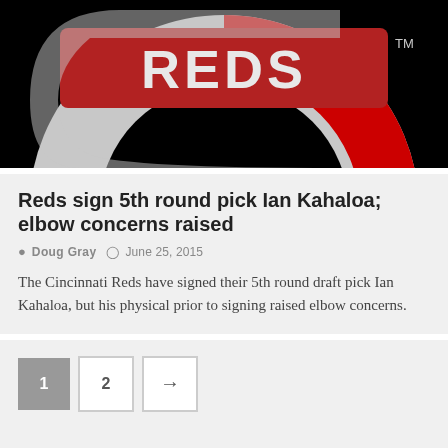[Figure (logo): Cincinnati Reds MLB team logo on black background — red circular logo with white letter C and red REDS lettering, with TM mark]
Reds sign 5th round pick Ian Kahaloa; elbow concerns raised
Doug Gray   June 25, 2015
The Cincinnati Reds have signed their 5th round draft pick Ian Kahaloa, but his physical prior to signing raised elbow concerns.